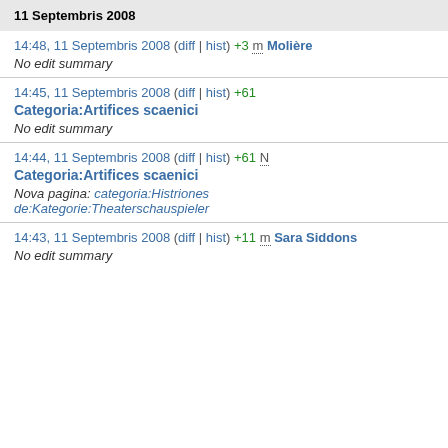11 Septembris 2008
14:48, 11 Septembris 2008  (diff | hist)  +3  m  Molière
No edit summary
14:45, 11 Septembris 2008  (diff | hist)  +61
Categoria:Artifices scaenici
No edit summary
14:44, 11 Septembris 2008  (diff | hist)  +61  N
Categoria:Artifices scaenici
Nova pagina: categoria:Histriones de:Kategorie:Theaterschauspieler
14:43, 11 Septembris 2008  (diff | hist)  +11  m  Sara Siddons
No edit summary